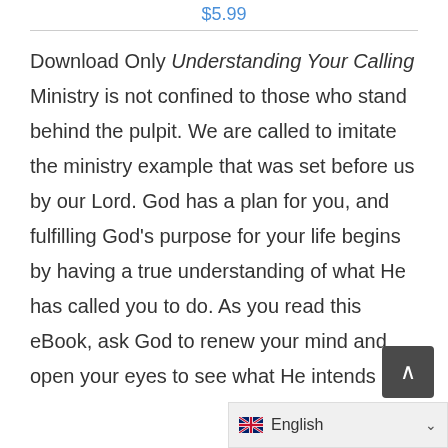$5.99
Download Only Understanding Your Calling Ministry is not confined to those who stand behind the pulpit. We are called to imitate the ministry example that was set before us by our Lord. God has a plan for you, and fulfilling God’s purpose for your life begins by having a true understanding of what He has called you to do. As you read this eBook, ask God to renew your mind and open your eyes to see what He intends your life to be so that you can understand your calling. Get yours today!